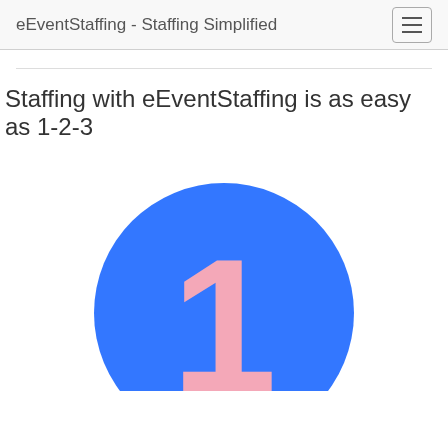eEventStaffing - Staffing Simplified
Staffing with eEventStaffing is as easy as 1-2-3
[Figure (illustration): A large blue circle with a pink number 1 displayed prominently in the center, partially cut off at the bottom of the page.]